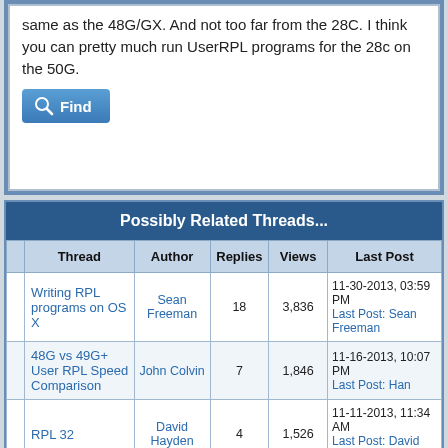same as the 48G/GX. And not too far from the 28C. I think you can pretty much run UserRPL programs for the 28c on the 50G.
[Figure (screenshot): Find button with magnifier icon, blue gradient background]
Possibly Related Threads...
| Thread | Author | Replies | Views | Last Post |
| --- | --- | --- | --- | --- |
| Writing RPL programs on OS X | Sean Freeman | 18 | 3,836 | 11-30-2013, 03:59 PM Last Post: Sean Freeman |
| 48G vs 49G+ User RPL Speed Comparison | John Colvin | 7 | 1,846 | 11-16-2013, 10:07 PM Last Post: Han |
| RPL 32 | David Hayden | 4 | 1,526 | 11-11-2013, 11:34 AM Last Post: David Hayden |
| HHC / HP |  |  |  |  |